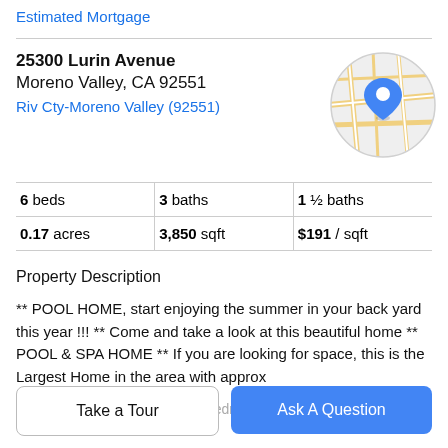Estimated Mortgage
25300 Lurin Avenue
Moreno Valley, CA 92551
Riv Cty-Moreno Valley (92551)
[Figure (map): Circular map thumbnail showing street layout with a blue location pin marker.]
| 6 beds | 3 baths | 1 ½ baths |
| 0.17 acres | 3,850 sqft | $191 / sqft |
Property Description
** POOL HOME, start enjoying the summer in your back yard this year !!! ** Come and take a look at this beautiful home ** POOL & SPA HOME ** If you are looking for space, this is the Largest Home in the area with approx
3,850 sq ft of living space ** 6 Bedrooms ** 2 of the
Take a Tour
Ask A Question